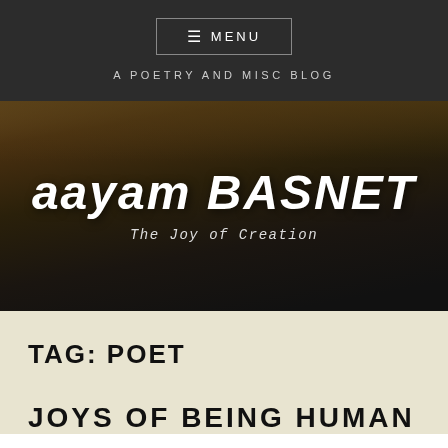≡ MENU
A POETRY AND MISC BLOG
aayam BASNET
The Joy of Creation
TAG: POET
JOYS OF BEING HUMAN